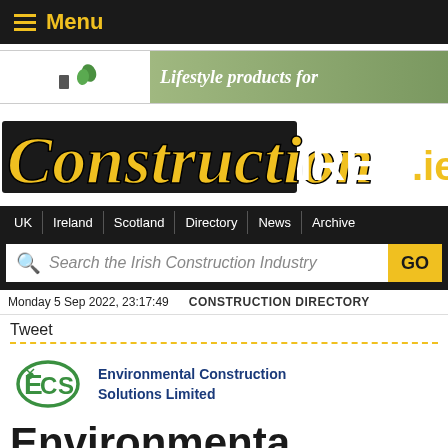Menu
[Figure (screenshot): Banner advertisement strip showing a green leaf icon and text 'Lifestyle products for']
[Figure (logo): ConstructionIRELAND.ie logo in large bold yellow and white text on dark background]
UK | Ireland | Scotland | Directory | News | Archive
Search the Irish Construction Industry GO
Monday 5 Sep 2022, 23:17:49    CONSTRUCTION DIRECTORY
Tweet
[Figure (logo): Environmental Construction Solutions Limited logo - green stylized ECS letters]
Environmental Construction Solutions Limited
Environmenta